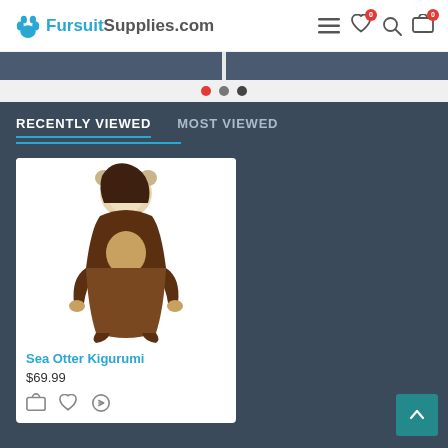FursuitSupplies.com
[Figure (screenshot): Slider banner strip with two dark panels and navigation dots (red, gray, dark gray)]
RECENTLY VIEWED   MOST VIEWED
[Figure (photo): Person wearing a brown Sea Otter Kigurumi animal onesie costume with hood]
Sea Otter Kigurumi
$69.99